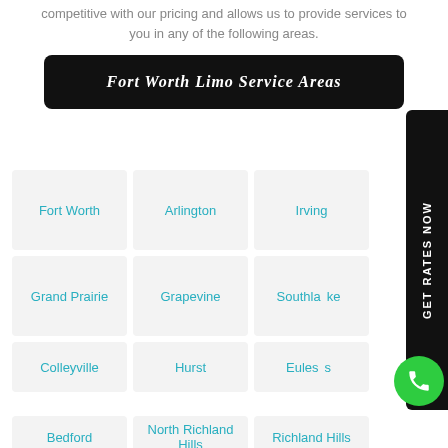competitive with our pricing and allows us to provide services to you in any of the following areas.
Fort Worth Limo Service Areas
Fort Worth
Arlington
Irving
Grand Prairie
Grapevine
Southlake
Colleyville
Hurst
Euless
Bedford
North Richland Hills
Richland Hills